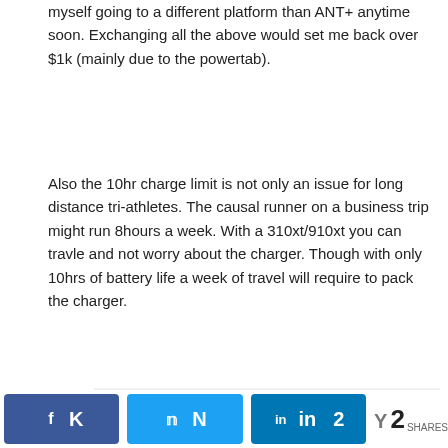myself going to a different platform than ANT+ anytime soon. Exchanging all the above would set me back over $1k (mainly due to the powertab).
Also the 10hr charge limit is not only an issue for long distance tri-athletes. The causal runner on a business trip might run 8hours a week. With a 310xt/910xt you can travle and not worry about the charger. Though with only 10hrs of battery life a week of travel will require to pack the charger.
Reply
Rainmaker
April 23, 2013 at 10:30 am
#17
It's funny, there's actually no way for me to test BLE HR transmissions today for swimming – mostly because
K  N  in 2  Y 2 SHARES